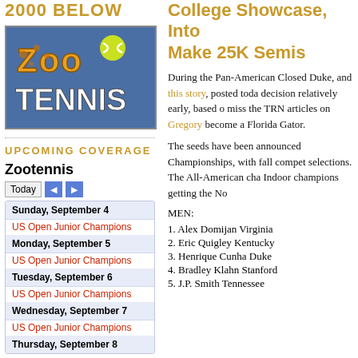2000 BELOW
[Figure (logo): Zoo Tennis logo on blue background with orange zoo-spotted letters and tennis ball]
UPCOMING COVERAGE
Zootennis
Today [navigation buttons]
| Day | Event |
| --- | --- |
| Sunday, September 4 | US Open Junior Champions |
| Monday, September 5 | US Open Junior Champions |
| Tuesday, September 6 | US Open Junior Champions |
| Wednesday, September 7 | US Open Junior Champions |
| Thursday, September 8 |  |
College Showcase, Into Make 25K Semis
During the Pan-American Closed Duke, and this story, posted toda decision relatively early, based o miss the TRN articles on Gregory become a Florida Gator.
The seeds have been announced Championships, with fall compet selections. The All-American cha Indoor champions getting the No
MEN:
1. Alex Domijan Virginia
2. Eric Quigley Kentucky
3. Henrique Cunha Duke
4. Bradley Klahn Stanford
5. J.P. Smith Tennessee